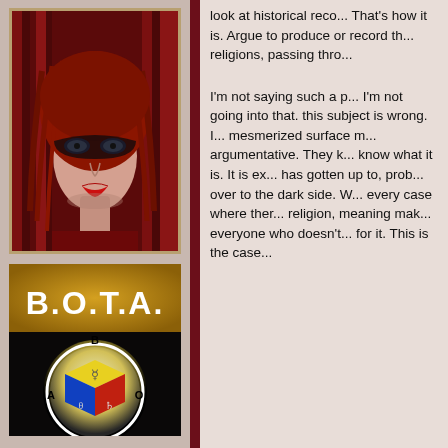[Figure (photo): Close-up photo of a woman with red hair and a dark masquerade mask, wearing red clothing, dramatic style.]
[Figure (logo): B.O.T.A. logo — gold/brown background with white text 'B.O.T.A.' followed by a black panel showing a circular diagram with letters A, B, O around a colored cube with astrological symbols, glowing center.]
look at historical reco... That's how it is. Argue to produce or record th... religions, passing thro...
I'm not saying such a p... I'm not going into that. this subject is wrong. I... mesmerized surface m... argumentative. They k... know what it is. It is ex... has gotten up to, prob... over to the dark side. W... every case where ther... religion, meaning mak... everyone who doesn't... for it. This is the case...